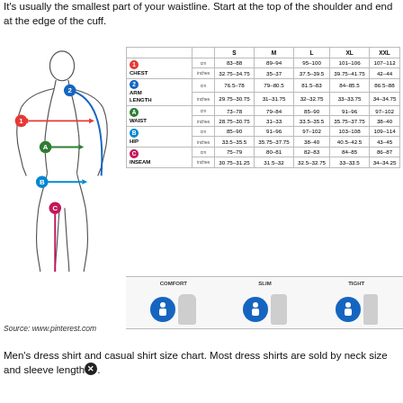It's usually the smallest part of your waistline. Start at the top of the shoulder and end at the edge of the cuff.
[Figure (illustration): Male body outline with measurement indicators: 1 (red, chest), 2 (blue, arm length), A (green, waist), B (light blue, hip), C (pink, inseam)]
|  |  | S | M | L | XL | XXL |
| --- | --- | --- | --- | --- | --- | --- |
| 1 CHEST | cm | 83-88 | 89-94 | 95-100 | 101-106 | 107-112 |
|  | inches | 32.75-34.75 | 35-37 | 37.5-39.5 | 39.75-41.75 | 42-44 |
| 2 ARM LENGTH | cm | 76.5-78 | 79-80.5 | 81.5-83 | 84-85.5 | 86.5-88 |
|  | inches | 29.75-30.75 | 31-31.75 | 32-32.75 | 33-33.75 | 34-34.75 |
| A WAIST | cm | 73-78 | 79-84 | 85-90 | 91-96 | 97-102 |
|  | inches | 28.75-30.75 | 31-33 | 33.5-35.5 | 35.75-37.75 | 38-40 |
| B HIP | cm | 85-90 | 91-96 | 97-102 | 103-108 | 109-114 |
|  | inches | 33.5-35.5 | 35.75-37.75 | 38-40 | 40.5-42.5 | 43-45 |
| C INSEAM | cm | 75-79 | 80-81 | 82-83 | 84-85 | 86-87 |
|  | inches | 30.75-31.25 | 31.5-32 | 32.5-32.75 | 33-33.5 | 34-34.25 |
[Figure (infographic): Three fit styles shown: COMFORT, SLIM, TIGHT — each with a blue icon and body silhouette]
Source: www.pinterest.com
Men's dress shirt and casual shirt size chart. Most dress shirts are sold by neck size and sleeve length.